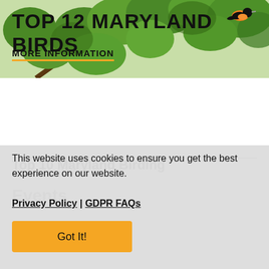[Figure (photo): Photo of green leafy tree branches with an orange bird (Baltimore Oriole) visible in upper right corner]
TOP 12 MARYLAND BIRDS
MORE INFORMATION
Fairs & Festivals
This website uses cookies to ensure you get the best experience on our website. Privacy Policy | GDPR FAQs
Got It!